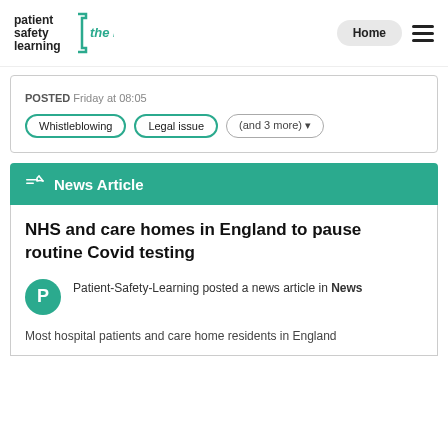patient safety learning | the hub | Home
POSTED Friday at 08:05
Whistleblowing | Legal issue | (and 3 more)
News Article
NHS and care homes in England to pause routine Covid testing
Patient-Safety-Learning posted a news article in News
Most hospital patients and care home residents in England